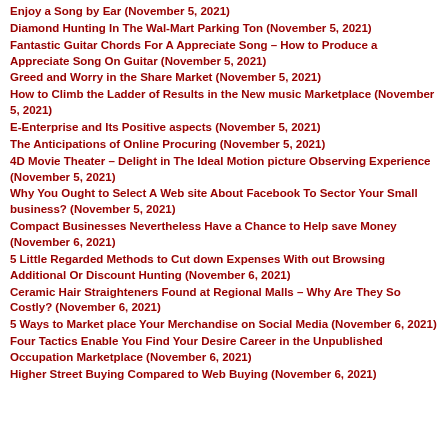Enjoy a Song by Ear (November 5, 2021)
Diamond Hunting In The Wal-Mart Parking Ton (November 5, 2021)
Fantastic Guitar Chords For A Appreciate Song – How to Produce a Appreciate Song On Guitar (November 5, 2021)
Greed and Worry in the Share Market (November 5, 2021)
How to Climb the Ladder of Results in the New music Marketplace (November 5, 2021)
E-Enterprise and Its Positive aspects (November 5, 2021)
The Anticipations of Online Procuring (November 5, 2021)
4D Movie Theater – Delight in The Ideal Motion picture Observing Experience (November 5, 2021)
Why You Ought to Select A Web site About Facebook To Sector Your Small business? (November 5, 2021)
Compact Businesses Nevertheless Have a Chance to Help save Money (November 6, 2021)
5 Little Regarded Methods to Cut down Expenses With out Browsing Additional Or Discount Hunting (November 6, 2021)
Ceramic Hair Straighteners Found at Regional Malls – Why Are They So Costly? (November 6, 2021)
5 Ways to Market place Your Merchandise on Social Media (November 6, 2021)
Four Tactics Enable You Find Your Desire Career in the Unpublished Occupation Marketplace (November 6, 2021)
Higher Street Buying Compared to Web Buying (November 6, 2021)